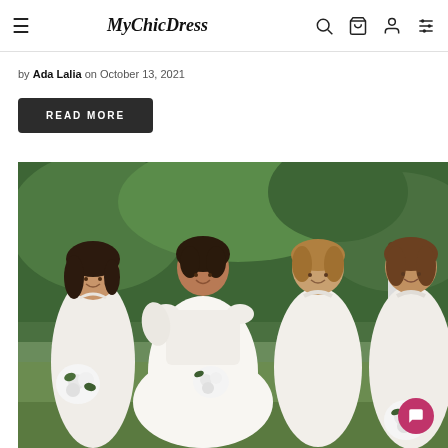MyChicDress — navigation bar with hamburger menu, logo, search, cart, account, and filter icons
by Ada Lalia on October 13, 2021
READ MORE
[Figure (photo): Four women smiling outdoors in a garden setting. One woman in the center wears a white off-the-shoulder wedding dress. The other three wear white halter-neck bridesmaid dresses and hold white floral bouquets. Lush green ivy wall and trees visible in the background.]